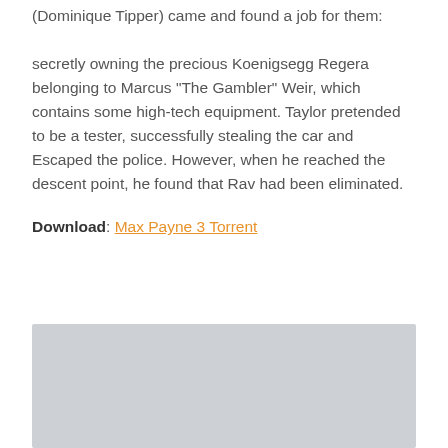(Dominique Tipper) came and found a job for them:
secretly owning the precious Koenigsegg Regera belonging to Marcus “The Gambler” Weir, which contains some high-tech equipment. Taylor pretended to be a tester, successfully stealing the car and Escaped the police. However, when he reached the descent point, he found that Rav had been eliminated.
Download: Max Payne 3 Torrent
[Figure (other): Gray placeholder image block at the bottom of the page]